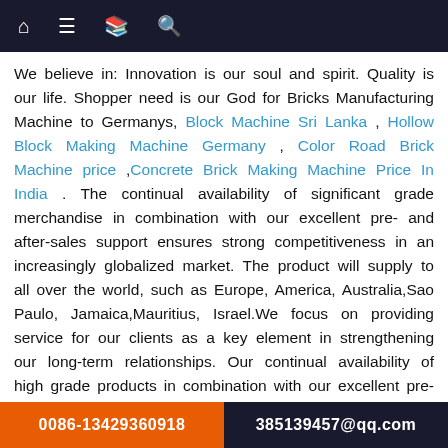[Navigation bar with home, menu, book, and search icons]
We believe in: Innovation is our soul and spirit. Quality is our life. Shopper need is our God for Bricks Manufacturing Machine to Germanys, Block Machine Sri Lanka , Hollow Block Making Machine Germany , Color Road Brick Machine price ,Concrete Brick Making Machine Price In India . The continual availability of significant grade merchandise in combination with our excellent pre- and after-sales support ensures strong competitiveness in an increasingly globalized market. The product will supply to all over the world, such as Europe, America, Australia,Sao Paulo, Jamaica,Mauritius, Israel.We focus on providing service for our clients as a key element in strengthening our long-term relationships. Our continual availability of high grade products in combination with our excellent pre-sale and after-sales service ensures strong competitiveness in an increasingly globalized market. We are willing to cooperate with business friends from at home and abroad and create a great future together.
0086-13429360918    385139457@qq.com